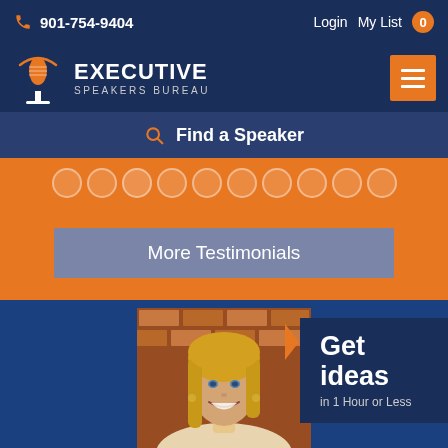901-754-9404  Login  My List 0
[Figure (logo): Executive Speakers Bureau logo with microphone icon and orange arc]
Find a Speaker
More Testimonials
Get ideas in 1 Hour or Less
[Figure (photo): Photo of a smiling blonde woman against a brick wall background]